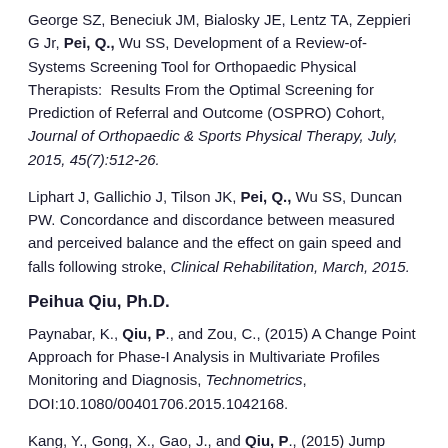George SZ, Beneciuk JM, Bialosky JE, Lentz TA, Zeppieri G Jr, Pei, Q., Wu SS, Development of a Review-of-Systems Screening Tool for Orthopaedic Physical Therapists:  Results From the Optimal Screening for Prediction of Referral and Outcome (OSPRO) Cohort, Journal of Orthopaedic & Sports Physical Therapy, July, 2015, 45(7):512-26.
Liphart J, Gallichio J, Tilson JK, Pei, Q., Wu SS, Duncan PW. Concordance and discordance between measured and perceived balance and the effect on gain speed and falls following stroke, Clinical Rehabilitation, March, 2015.
Peihua Qiu, Ph.D.
Paynabar, K., Qiu, P., and Zou, C., (2015) A Change Point Approach for Phase-I Analysis in Multivariate Profiles Monitoring and Diagnosis, Technometrics, DOI:10.1080/00401706.2015.1042168.
Kang, Y., Gong, X., Gao, J., and Qiu, P., (2015) Jump